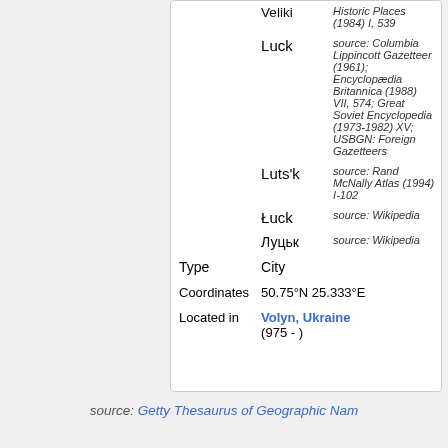|  | Name | Source |
| --- | --- | --- |
|  | Velіkі | Historic Places (1984) I, 539 |
|  | Luck | source: Columbia Lippincott Gazetteer (1961); Encyclopædia Britannica (1988) VII, 574; Great Soviet Encyclopedia (1973-1982) XV; USBGN: Foreign Gazetteers |
|  | Luts'k | source: Rand McNally Atlas (1994) I-102 |
|  | Łuck | source: Wikipedia |
|  | Луцьк | source: Wikipedia |
| Type | City |  |
| Coordinates | 50.75°N 25.333°E |  |
| Located in | Volyn, Ukraine (975 - ) |  |
source: Getty Thesaurus of Geographic Nam...